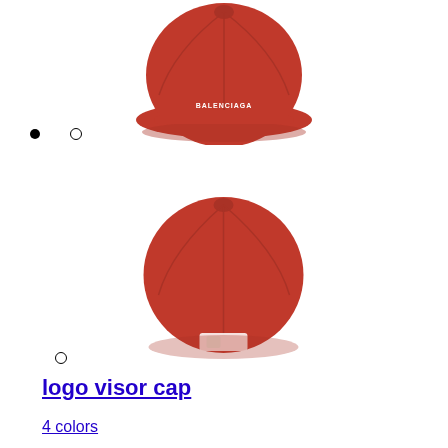[Figure (photo): Red Balenciaga logo visor cap viewed from the front/top on white background]
[Figure (photo): Red Balenciaga logo visor cap viewed from the back on white background]
logo visor cap
4 colors